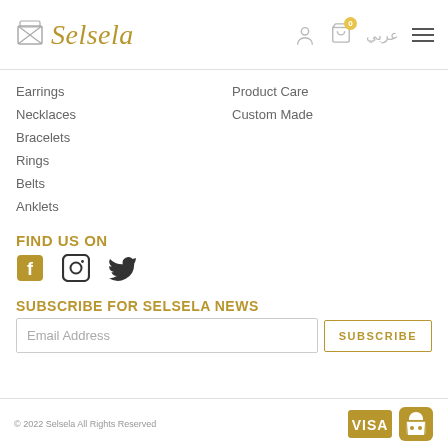Selsela
Earrings
Necklaces
Bracelets
Rings
Belts
Anklets
Product Care
Custom Made
FIND US ON
[Figure (logo): Facebook, Instagram, Twitter social media icons in gold/dark color]
SUBSCRIBE FOR SELSELA NEWS
Email Address | SUBSCRIBE
© 2022 Selsela All Rights Reserved